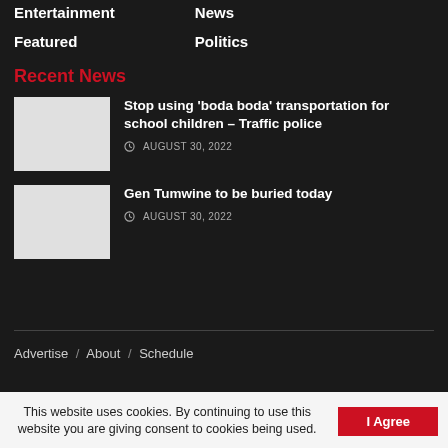Entertainment
News
Featured
Politics
Recent News
Stop using ‘boda boda’ transportation for school children – Traffic police
AUGUST 30, 2022
Gen Tumwine to be buried today
AUGUST 30, 2022
Advertise / About / Schedule
This website uses cookies. By continuing to use this website you are giving consent to cookies being used.